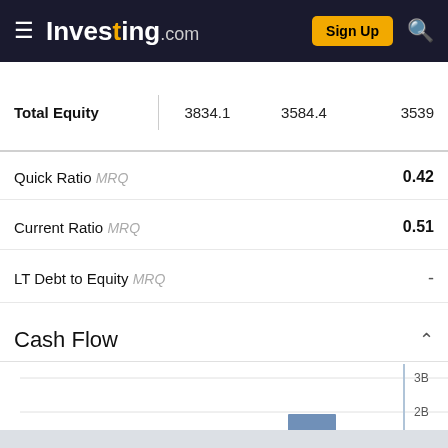Investing.com — Sign Up
Equifax Inc (EFX)
|  | Col1 | Col2 | Col3 |
| --- | --- | --- | --- |
| Total Equity | 3834.1 | 3584.4 | 3539 |
Quick Ratio MRQ  0.42
Current Ratio MRQ  0.51
LT Debt to Equity MRQ  -
Total Debt to Equity MRQ  149.41%
Cash Flow
[Figure (bar-chart): Cash Flow]